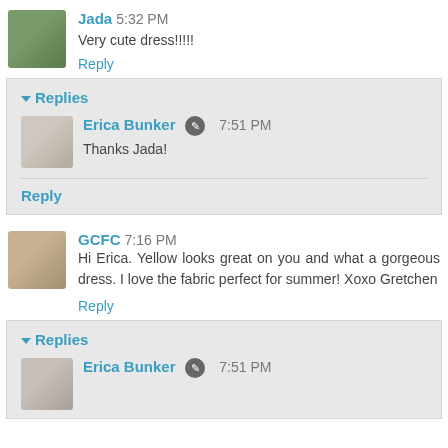Jada 5:32 PM
Very cute dress!!!!!
Reply
Replies
Erica Bunker 7:51 PM
Thanks Jada!
Reply
GCFC 7:16 PM
Hi Erica. Yellow looks great on you and what a gorgeous dress. I love the fabric perfect for summer! Xoxo Gretchen
Reply
Replies
Erica Bunker 7:51 PM